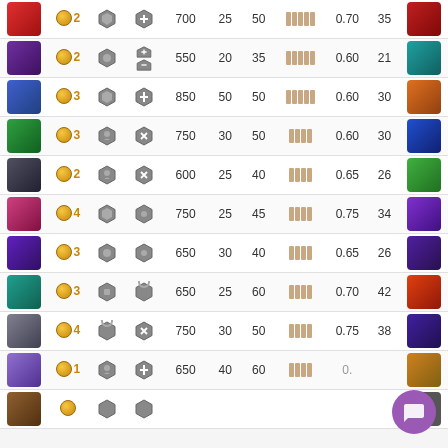| Avatar | Coins | Icon1 | Icon2 | Num1 | Num2 | Num3 | Bars | Ratio | Num4 | Avatar2 |
| --- | --- | --- | --- | --- | --- | --- | --- | --- | --- | --- |
| [avatar] | 2 | [diamond][shield] | 700 | 25 | 50 | [bars5] | 0.70 | 35 | [avatar-r] |
| [avatar] | 2 | [flower][shield] | 550 | 20 | 35 | [bars5] | 0.60 | 21 | [avatar-r] |
| [avatar] | 3 | [diamond][shield] | 850 | 50 | 50 | [bars5] | 0.60 | 30 | [avatar-r] |
| [avatar] | 3 | [flower][tool] | 750 | 30 | 50 | [bars4] | 0.60 | 30 | [avatar-r] |
| [avatar] | 2 | [face][cross] | 600 | 25 | 40 | [bars4] | 0.65 | 26 | [avatar-r] |
| [avatar] | 4 | [diamond][shield] | 750 | 25 | 45 | [bars4] | 0.75 | 34 | [avatar-r] |
| [avatar] | 3 | [flower][shield] | 650 | 30 | 40 | [bars4] | 0.65 | 26 | [avatar-r] |
| [avatar] | 3 | [cube][gear] | 650 | 25 | 60 | [bars4] | 0.70 | 42 | [avatar-r] |
| [avatar] | 4 | [gear][cross] | 750 | 30 | 50 | [bars4] | 0.75 | 38 | [avatar-r] |
| [avatar] | 1 | [face][shield] | 650 | 40 | 60 | [bars4] | 0.?? | ?? | [avatar-r] |
| [avatar] | ? | [?][?] | ??? | ?? | ?? | [bars?] | ??? | ?? | [avatar-r] |